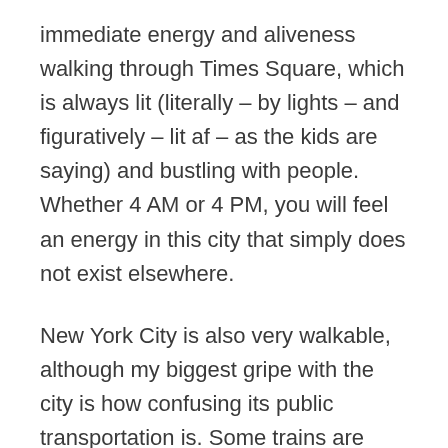immediate energy and aliveness walking through Times Square, which is always lit (literally – by lights – and figuratively – lit af – as the kids are saying) and bustling with people. Whether 4 AM or 4 PM, you will feel an energy in this city that simply does not exist elsewhere.
New York City is also very walkable, although my biggest gripe with the city is how confusing its public transportation is. Some trains are labeled by number, some are labeled by letter, some are referred to by color – I have an easier time navigating train